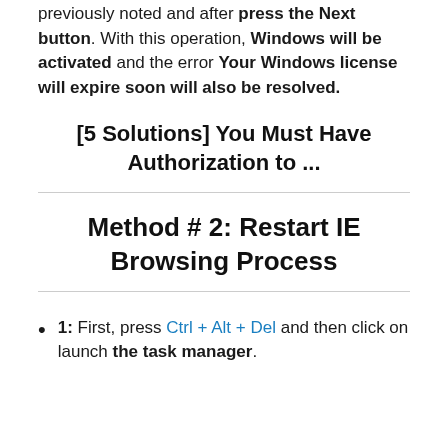previously noted and after press the Next button. With this operation, Windows will be activated and the error Your Windows license will expire soon will also be resolved.
[5 Solutions] You Must Have Authorization to ...
Method # 2: Restart IE Browsing Process
1: First, press Ctrl + Alt + Del and then click on launch the task manager.